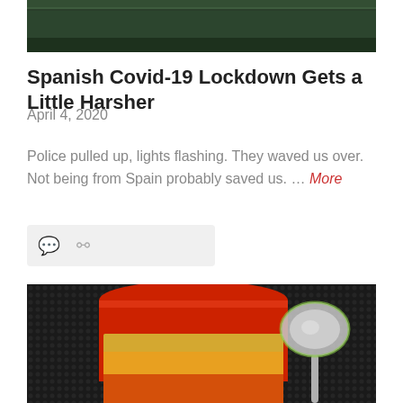[Figure (photo): Top portion of a photo showing a dark green surface, partially cropped]
Spanish Covid-19 Lockdown Gets a Little Harsher
April 4, 2020
Police pulled up, lights flashing. They waved us over. Not being from Spain probably saved us. … More
[Figure (photo): Close-up photo of a peanut butter jar with a red lid and a spoon in the background, on a dark textured surface]